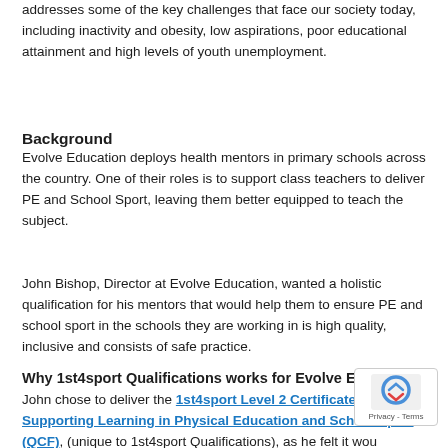addresses some of the key challenges that face our society today, including inactivity and obesity, low aspirations, poor educational attainment and high levels of youth unemployment.
Background
Evolve Education deploys health mentors in primary schools across the country. One of their roles is to support class teachers to deliver PE and School Sport, leaving them better equipped to teach the subject.
John Bishop, Director at Evolve Education, wanted a holistic qualification for his mentors that would help them to ensure PE and school sport in the schools they are working in is high quality, inclusive and consists of safe practice.
Why 1st4sport Qualifications works for Evolve Education
John chose to deliver the 1st4sport Level 2 Certificate in Supporting Learning in Physical Education and School Sport (QCF), (unique to 1st4sport Qualifications), as he felt it would enhance his health mentors' skills as they support non-specialist teachers to deliver their PE lessons. He thinks that this qualification